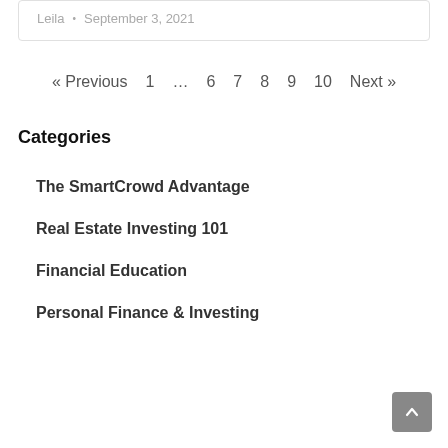Leila • September 3, 2021
« Previous  1  …  6  7  8  9  10  Next »
Categories
The SmartCrowd Advantage
Real Estate Investing 101
Financial Education
Personal Finance & Investing